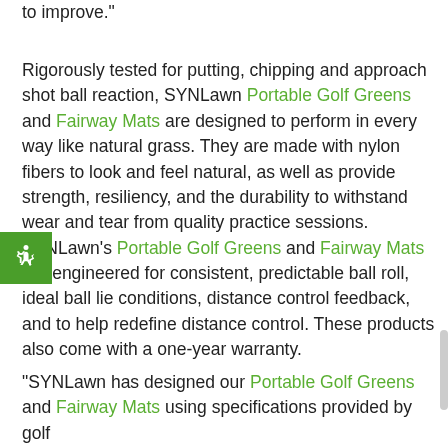to improve."

Rigorously tested for putting, chipping and approach shot ball reaction, SYNLawn Portable Golf Greens and Fairway Mats are designed to perform in every way like natural grass. They are made with nylon fibers to look and feel natural, as well as provide strength, resiliency, and the durability to withstand wear and tear from quality practice sessions. SYNLawn’s Portable Golf Greens and Fairway Mats are engineered for consistent, predictable ball roll, ideal ball lie conditions, distance control feedback, and to help redefine distance control. These products also come with a one-year warranty.

"SYNLawn has designed our Portable Golf Greens and Fairway Mats using specifications provided by golf